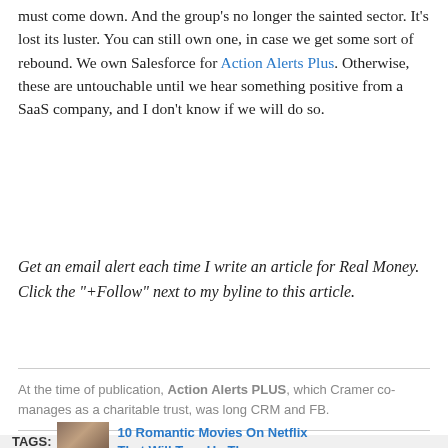must come down. And the group's no longer the sainted sector. It's lost its luster. You can still own one, in case we get some sort of rebound. We own Salesforce for Action Alerts Plus. Otherwise, these are untouchable until we hear something positive from a SaaS company, and I don't know if we will do so.
Get an email alert each time I write an article for Real Money. Click the "+Follow" next to my byline to this article.
At the time of publication, Action Alerts PLUS, which Cramer co-manages as a charitable trust, was long CRM and FB.
TAGS: 10 Romantic Movies On Netflix That Will Turn Up Th...